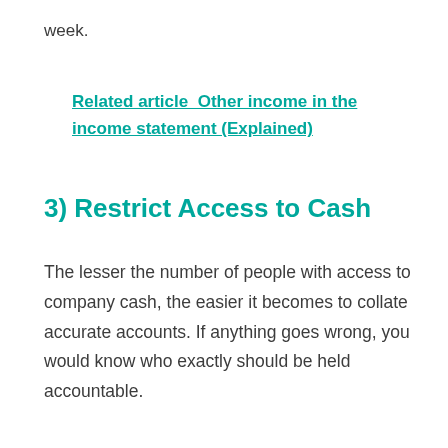week.
Related article  Other income in the income statement (Explained)
3) Restrict Access to Cash
The lesser the number of people with access to company cash, the easier it becomes to collate accurate accounts. If anything goes wrong, you would know who exactly should be held accountable.